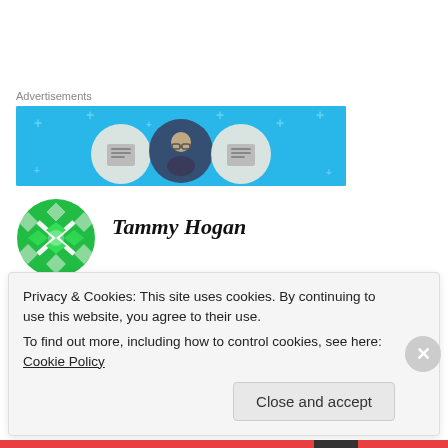Advertisements
[Figure (illustration): Blue advertisement banner with three circular avatar icons representing people/documents on a light blue background with decorative plus signs]
Tammy Hogan
OCTOBER 21, 2014 AT 8:16 PM
Will & Esther,
Privacy & Cookies: This site uses cookies. By continuing to use this website, you agree to their use. To find out more, including how to control cookies, see here: Cookie Policy
Close and accept